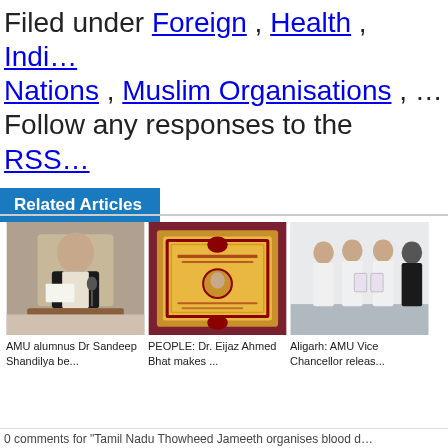Filed under Foreign , Health , Indi... Nations , Muslim Organisations , ... Follow any responses to the RSS... response
Related Articles
[Figure (photo): Man in dark jacket at microphone reading paper - AMU alumnus Dr Sandeep Shandilya]
AMU alumnus Dr Sandeep Shandilya be...
[Figure (photo): Gold and red framed award certificate - PEOPLE: Dr. Eijaz Ahmed Bhat makes ...]
PEOPLE: Dr. Eijaz Ahmed Bhat makes ...
[Figure (photo): Group of men in white clothing holding documents - Aligarh: AMU Vice Chancellor releas...]
Aligarh: AMU Vice Chancellor releas...
0 comments for "Tamil Nadu Thowheed Jameeth organises blood d...